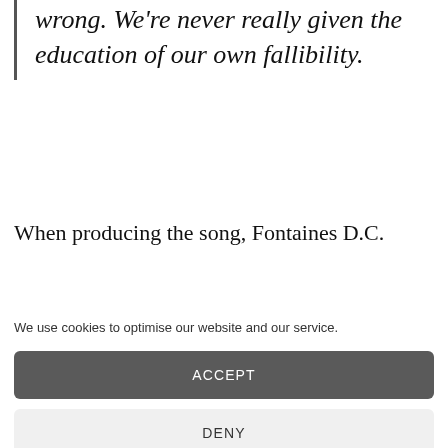wrong. We're never really given the education of our own fallibility.
When producing the song, Fontaines D.C.
We use cookies to optimise our website and our service.
ACCEPT
DENY
PREFERENCES